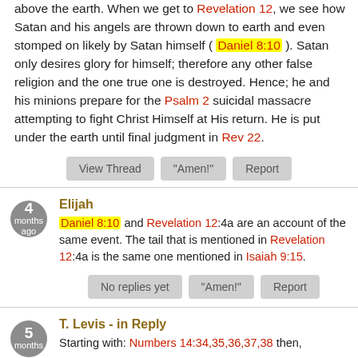above the earth. When we get to Revelation 12, we see how Satan and his angels are thrown down to earth and even stomped on likely by Satan himself (Daniel 8:10). Satan only desires glory for himself; therefore any other false religion and the one true one is destroyed. Hence; he and his minions prepare for the Psalm 2 suicidal massacre attempting to fight Christ Himself at His return. He is put under the earth until final judgment in Rev 22.
View Thread | "Amen!" | Report
Elijah
Daniel 8:10 and Revelation 12:4a are an account of the same event. The tail that is mentioned in Revelation 12:4a is the same one mentioned in Isaiah 9:15.
No replies yet | "Amen!" | Report
T. Levis - in Reply
Starting with: Numbers 14:34,35,36,37,38 then,